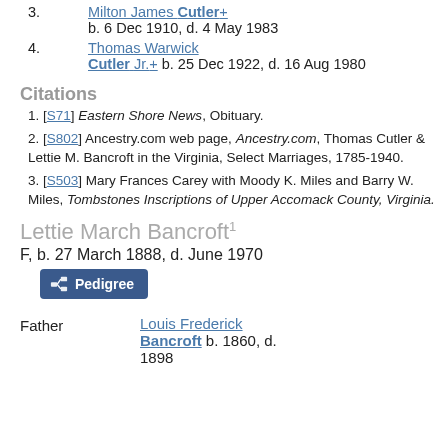3. Milton James Cutler+ b. 6 Dec 1910, d. 4 May 1983
4. Thomas Warwick Cutler Jr.+ b. 25 Dec 1922, d. 16 Aug 1980
Citations
1. [S71] Eastern Shore News, Obituary.
2. [S802] Ancestry.com web page, Ancestry.com, Thomas Cutler & Lettie M. Bancroft in the Virginia, Select Marriages, 1785-1940.
3. [S503] Mary Frances Carey with Moody K. Miles and Barry W. Miles, Tombstones Inscriptions of Upper Accomack County, Virginia.
Lettie March Bancroft
F, b. 27 March 1888, d. June 1970
Father
Louis Frederick Bancroft b. 1860, d. 1898